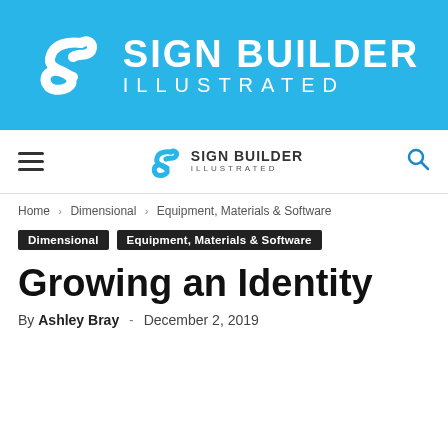[Figure (logo): Sign Builder Illustrated banner logo with large S swirl icon and white text on cyan/blue background]
Sign Builder Illustrated navigation bar with hamburger menu, logo, and search icon
Home › Dimensional › Equipment, Materials & Software
Dimensional | Equipment, Materials & Software
Growing an Identity
By Ashley Bray - December 2, 2019